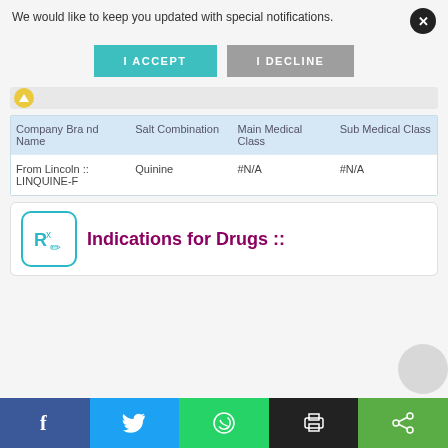We would like to keep you updated with special notifications.
[Figure (screenshot): I ACCEPT and I DECLINE buttons for notification permission]
[Figure (screenshot): Navigation/search bar element with yellow V icon]
| Company Brand Name | Salt Combination | Main Medical Class | Sub Medical Class |
| --- | --- | --- | --- |
| From Lincoln :: LINQUINE-F | Quinine | #N/A | #N/A |
Indications for Drugs ::
[Figure (screenshot): Social share footer bar with Facebook, Twitter, WhatsApp, Print, and Share icons]